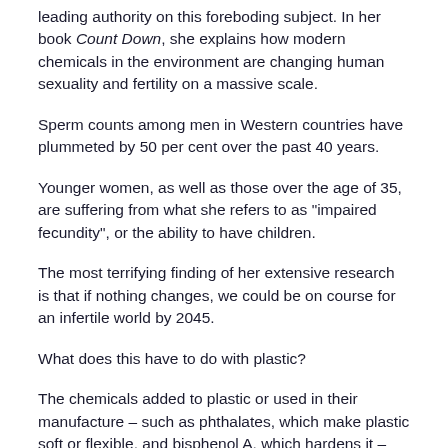leading authority on this foreboding subject. In her book Count Down, she explains how modern chemicals in the environment are changing human sexuality and fertility on a massive scale.
Sperm counts among men in Western countries have plummeted by 50 per cent over the past 40 years.
Younger women, as well as those over the age of 35, are suffering from what she refers to as "impaired fecundity", or the ability to have children.
The most terrifying finding of her extensive research is that if nothing changes, we could be on course for an infertile world by 2045.
What does this have to do with plastic?
The chemicals added to plastic or used in their manufacture – such as phthalates, which make plastic soft or flexible, and bisphenol A, which hardens it – have been linked to fertility issues in men and women, including diminishing sperm count, poor sperm quality, miscarriage and